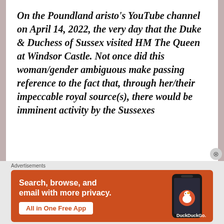On the Poundland aristo's YouTube channel on April 14, 2022, the very day that the Duke & Duchess of Sussex visited HM The Queen at Windsor Castle. Not once did this woman/gender ambiguous make passing reference to the fact that, through her/their impeccable royal source(s), there would be imminent activity by the Sussexes
[Figure (screenshot): DuckDuckGo advertisement banner with orange background showing 'Search, browse, and email with more privacy. All in One Free App' text with a phone mockup and DuckDuckGo logo]